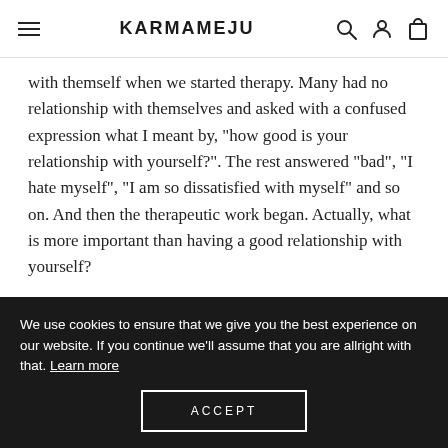KARMAMEJU
with themself when we started therapy. Many had no relationship with themselves and asked with a confused expression what I meant by, "how good is your relationship with yourself?". The rest answered "bad", "I hate myself", "I am so dissatisfied with myself" and so on. And then the therapeutic work began. Actually, what is more important than having a good relationship with yourself?

In our culture, most of us forget that we should also have a relationship... a relationship with ourselves. YOU...
We use cookies to ensure that we give you the best experience on our website. If you continue we'll assume that you are allright with that. Learn more
ACCEPT